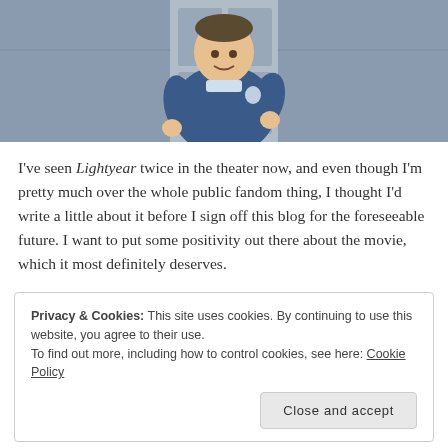[Figure (illustration): Animated character from Pixar's Lightyear — a stocky man in a blue uniform standing in a doorway, smiling]
I've seen Lightyear twice in the theater now, and even though I'm pretty much over the whole public fandom thing, I thought I'd write a little about it before I sign off this blog for the foreseeable future. I want to put some positivity out there about the movie, which it most definitely deserves.
Privacy & Cookies: This site uses cookies. By continuing to use this website, you agree to their use.
To find out more, including how to control cookies, see here: Cookie Policy
Close and accept